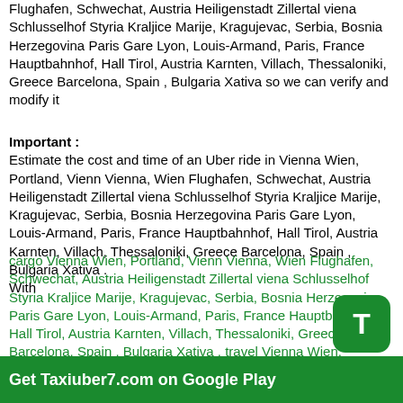Flughafen, Schwechat, Austria Heiligenstadt Zillertal viena Schlusselhof Styria Kraljice Marije, Kragujevac, Serbia, Bosnia Herzegovina Paris Gare Lyon, Louis-Armand, Paris, France Hauptbahnhof, Hall Tirol, Austria Karnten, Villach, Thessaloniki, Greece Barcelona, Spain , Bulgaria Xativa so we can verify and modify it
Important :
Estimate the cost and time of an Uber ride in Vienna Wien, Portland, Vienn Vienna, Wien Flughafen, Schwechat, Austria Heiligenstadt Zillertal viena Schlusselhof Styria Kraljice Marije, Kragujevac, Serbia, Bosnia Herzegovina Paris Gare Lyon, Louis-Armand, Paris, France Hauptbahnhof, Hall Tirol, Austria Karnten, Villach, Thessaloniki, Greece Barcelona, Spain , Bulgaria Xativa .
With
cargo Vienna Wien, Portland, Vienn Vienna, Wien Flughafen, Schwechat, Austria Heiligenstadt Zillertal viena Schlusselhof Styria Kraljice Marije, Kragujevac, Serbia, Bosnia Herzegovina Paris Gare Lyon, Louis-Armand, Paris, France Hauptbahnhof, Hall Tirol, Austria Karnten, Villach, Thessaloniki, Greece Barcelona, Spain , Bulgaria Xativa , travel Vienna Wien, Portland, Vienn Vienna, Wien Flughafen, Schwechat, Austria Heiligenstadt Zillertal viena Schlusselhof Styria Kraljice Marije, Kragujevac, Serbia, Bosnia Herzegovina Paris Gare Lyon, Louis-Armand, Paris, France Hauptbahnhof, Hall Tirol, Austria Karnten, Villach, Thessaloniki, Greece Barcelona, Spain , Bulgaria Xativa so we can...
[Figure (other): Green T icon (app icon) and banner reading 'Get Taxiuber7.com on Google Play']